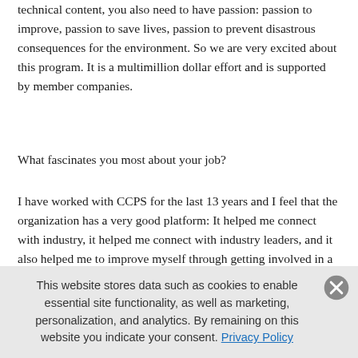technical content, you also need to have passion: passion to improve, passion to save lives, passion to prevent disastrous consequences for the environment. So we are very excited about this program. It is a multimillion dollar effort and is supported by member companies.
What fascinates you most about your job?
I have worked with CCPS for the last 13 years and I feel that the organization has a very good platform: It helped me connect with industry, it helped me connect with industry leaders, and it also helped me to improve myself through getting involved in a lot of activities it helped me...
This website stores data such as cookies to enable essential site functionality, as well as marketing, personalization, and analytics. By remaining on this website you indicate your consent. Privacy Policy